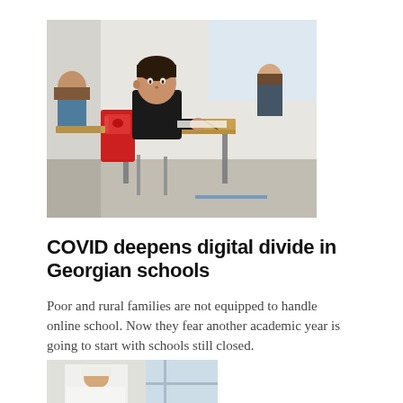[Figure (photo): School classroom scene: a young boy in a black shirt sitting at a wooden desk, writing. A red backpack is visible on the chair beside him. Other children are visible in the background.]
COVID deepens digital divide in Georgian schools
Poor and rural families are not equipped to handle online school. Now they fear another academic year is going to start with schools still closed.
Giorgi Lomsadze Aug 19, 2021
[Figure (photo): Partial view of a medical or healthcare scene, person in white coat/uniform near a window.]